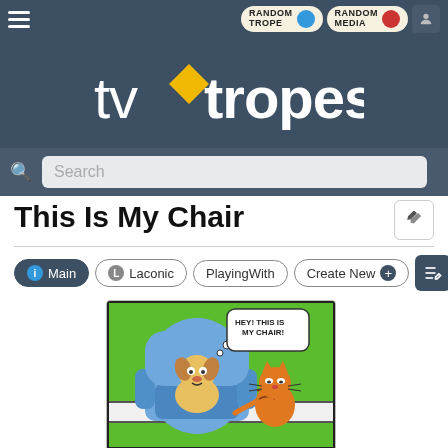[Figure (screenshot): TV Tropes website header with hamburger menu, Random Trope and Random Media buttons, user icon, TV Tropes logo, and search bar]
This Is My Chair
Main | Laconic | PlayingWith | Create New
[Figure (illustration): Garfield comic strip panel showing Odie sitting in a blue armchair with a thought bubble saying 'HEY! THIS IS MY CHAIR!' while Garfield stands nearby pointing]